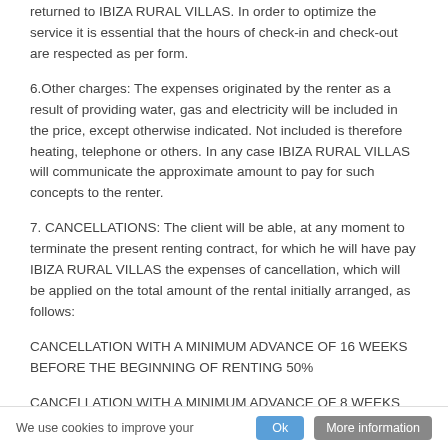returned to IBIZA RURAL VILLAS. In order to optimize the service it is essential that the hours of check-in and check-out are respected as per form.
6.Other charges: The expenses originated by the renter as a result of providing water, gas and electricity will be included in the price, except otherwise indicated. Not included is therefore heating, telephone or others. In any case IBIZA RURAL VILLAS will communicate the approximate amount to pay for such concepts to the renter.
7. CANCELLATIONS: The client will be able, at any moment to terminate the present renting contract, for which he will have pay IBIZA RURAL VILLAS the expenses of cancellation, which will be applied on the total amount of the rental initially arranged, as follows:
CANCELLATION WITH A MINIMUM ADVANCE OF 16 WEEKS BEFORE THE BEGINNING OF RENTING 50%
CANCELLATION WITH A MINIMUM ADVANCE OF 8 WEEKS BEFORE THE BEGINNING OF RENTING 100%
We use cookies to improve your